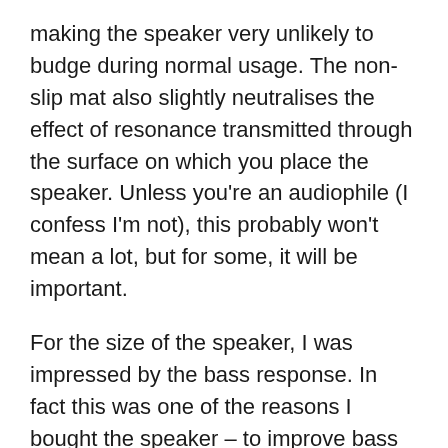making the speaker very unlikely to budge during normal usage. The non-slip mat also slightly neutralises the effect of resonance transmitted through the surface on which you place the speaker. Unless you're an audiophile (I confess I'm not), this probably won't mean a lot, but for some, it will be important.
For the size of the speaker, I was impressed by the bass response. In fact this was one of the reasons I bought the speaker – to improve bass experience, without having to lug around a sub woofer and without having to spend thousands on a high-end miniaturised speaker system.
Build quality is good. The case is mainly brushed aluminium, and not unattractive. It passed the spouse test; no exclamations of,"Oh how hideous! What horrendous technological monstrosity is that?!"